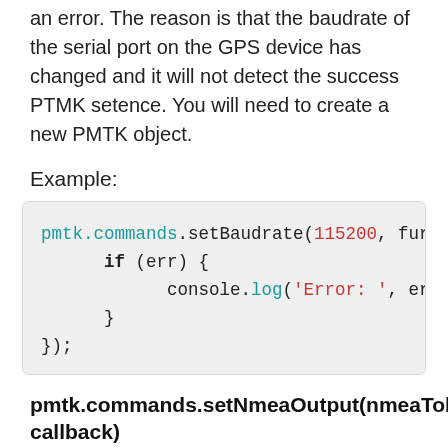an error. The reason is that the baudrate of the serial port on the GPS device has changed and it will not detect the success PTMK setence. You will need to create a new PMTK object.
Example:
[Figure (screenshot): Code block showing: pmtk.commands.setBaudrate(115200, fur
    if (err) {
        console.log('Error: ', err);
    }
});]
pmtk.commands.setNmeaOutput(nmeaTokens, callback)
This will set the PMTK...